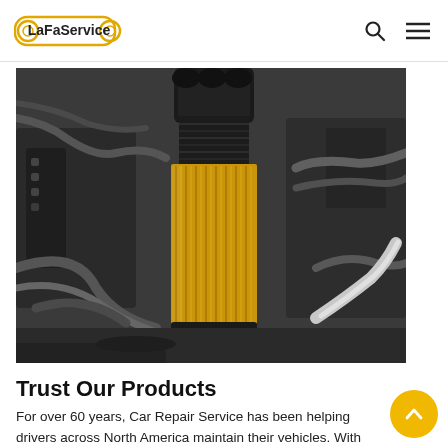LaFaService
[Figure (photo): Close-up photograph of an oil filter being handled in a car engine bay. The filter is cylindrical with gold/amber pleated filter media visible and a black top cap. The background shows engine components including hoses and wiring in dark/grayscale tones.]
Trust Our Products
For over 60 years, Car Repair Service has been helping drivers across North America maintain their vehicles. With ASE-certified mechanics in all of our stores, we can take care of all of your auto